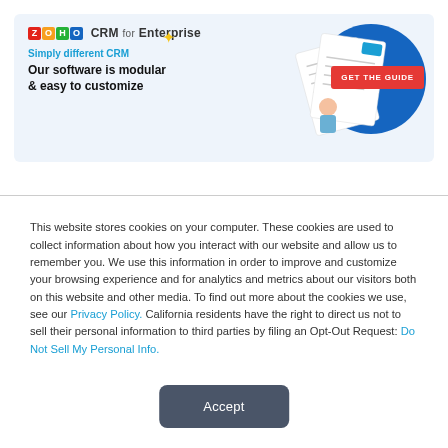[Figure (infographic): Zoho CRM for Enterprise advertisement banner with logo, tagline 'Simply different CRM', headline 'Our software is modular & easy to customize', document illustrations, and a red 'GET THE GUIDE' button on a light blue background]
This website stores cookies on your computer. These cookies are used to collect information about how you interact with our website and allow us to remember you. We use this information in order to improve and customize your browsing experience and for analytics and metrics about our visitors both on this website and other media. To find out more about the cookies we use, see our Privacy Policy. California residents have the right to direct us not to sell their personal information to third parties by filing an Opt-Out Request: Do Not Sell My Personal Info.
Accept